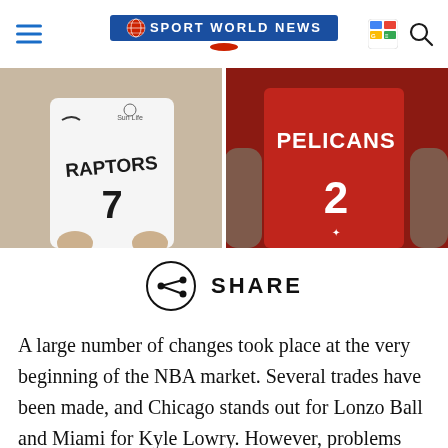SPORT WORLD NEWS
[Figure (photo): Split image: left side shows a Toronto Raptors player wearing jersey number 7, right side shows a New Orleans Pelicans player wearing jersey number 2]
[Figure (infographic): Share button icon (circle with share symbol) next to the word SHARE]
A large number of changes took place at the very beginning of the NBA market. Several trades have been made, and Chicago stands out for Lonzo Ball and Miami for Kyle Lowry. However, problems arose. The competent authorities of the NBA